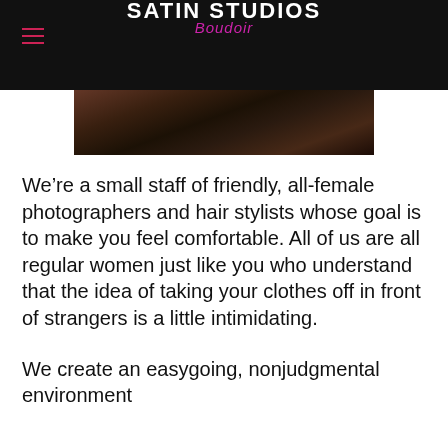Satin Studios Boudoir
[Figure (photo): Partial photo of a person, cropped, dark tones]
We're a small staff of friendly, all-female photographers and hair stylists whose goal is to make you feel comfortable. All of us are all regular women just like you who understand that the idea of taking your clothes off in front of strangers is a little intimidating.
We create an easygoing, nonjudgmental environment